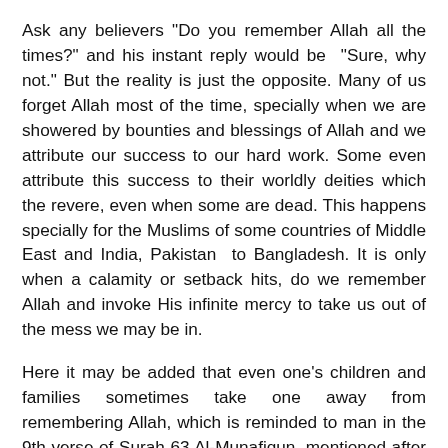Ask any believers "Do you remember Allah all the times?" and his instant reply would be  "Sure, why not." But the reality is just the opposite. Many of us forget Allah most of the time, specially when we are showered by bounties and blessings of Allah and we attribute our success to our hard work. Some even attribute this success to their worldly deities which the revere, even when some are dead. This happens specially for the Muslims of some countries of Middle East and India, Pakistan  to Bangladesh. It is only when a calamity or setback hits, do we remember Allah and invoke His infinite mercy to take us out of the mess we may be in.
Here it may be added that even one's children and families sometimes take one away from remembering Allah, which is reminded to man in the 9th verse of Surah 63 Al-Munafiqun, mentioned after the selected verse of the day.
By doing so, we forget that to forget Allah is to forget the only Eternal Reality. None other than He Who can avert any disaster or setback when it it hits it.  The following 19th verse